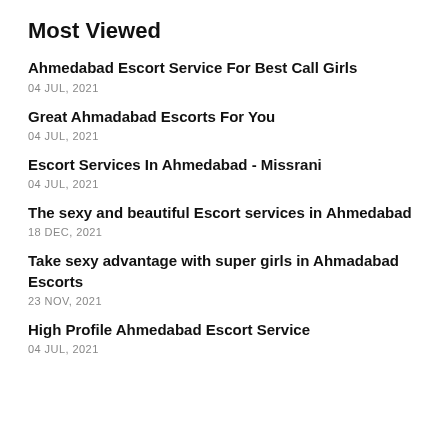Most Viewed
Ahmedabad Escort Service For Best Call Girls
04 JUL, 2021
Great Ahmadabad Escorts For You
04 JUL, 2021
Escort Services In Ahmedabad - Missrani
04 JUL, 2021
The sexy and beautiful Escort services in Ahmedabad
18 DEC, 2021
Take sexy advantage with super girls in Ahmadabad Escorts
23 NOV, 2021
High Profile Ahmedabad Escort Service
04 JUL, 2021